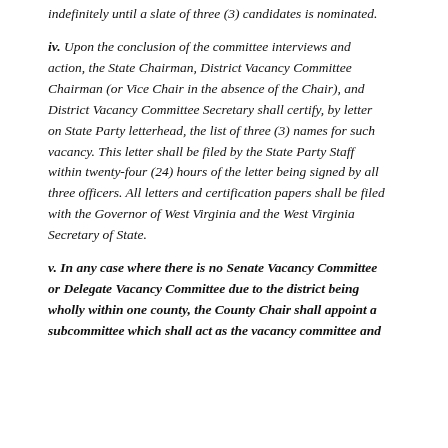indefinitely until a slate of three (3) candidates is nominated.
iv. Upon the conclusion of the committee interviews and action, the State Chairman, District Vacancy Committee Chairman (or Vice Chair in the absence of the Chair), and District Vacancy Committee Secretary shall certify, by letter on State Party letterhead, the list of three (3) names for such vacancy. This letter shall be filed by the State Party Staff within twenty-four (24) hours of the letter being signed by all three officers. All letters and certification papers shall be filed with the Governor of West Virginia and the West Virginia Secretary of State.
v. In any case where there is no Senate Vacancy Committee or Delegate Vacancy Committee due to the district being wholly within one county, the County Chair shall appoint a subcommittee which shall act as the vacancy committee and